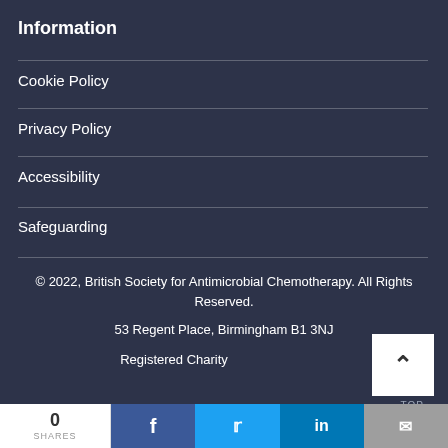Information
Cookie Policy
Privacy Policy
Accessibility
Safeguarding
© 2022, British Society for Antimicrobial Chemotherapy. All Rights Reserved.
53 Regent Place, Birmingham B1 3NJ
Registered Charity
0 SHARES | Facebook | Twitter | LinkedIn | Email